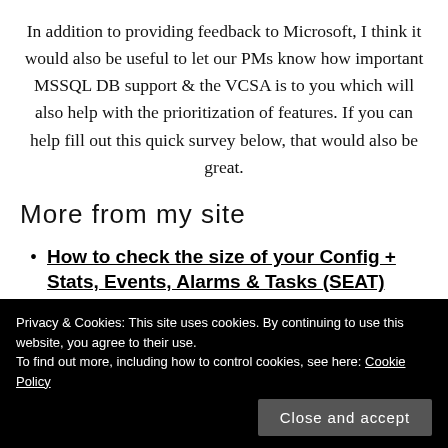In addition to providing feedback to Microsoft, I think it would also be useful to let our PMs know how important MSSQL DB support & the VCSA is to you which will also help with the prioritization of features. If you can help fill out this quick survey below, that would also be great.
More from my site
How to check the size of your Config + Stats, Events, Alarms & Tasks (SEAT) data in the VCSA Migrati...
Privacy & Cookies: This site uses cookies. By continuing to use this website, you agree to their use. To find out more, including how to control cookies, see here: Cookie Policy